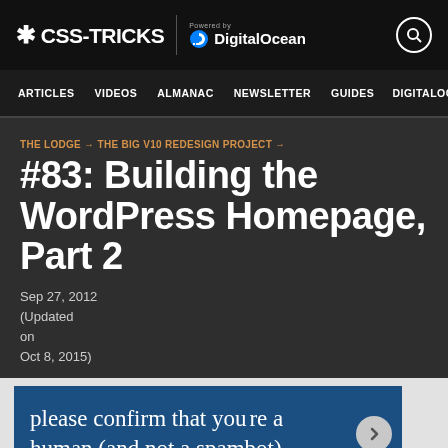* CSS-TRICKS | Powered by DigitalOcean
ARTICLES  VIDEOS  ALMANAC  NEWSLETTER  GUIDES  DIGITALOC
THE LODGE → THE BIG V10 REDESIGN PROJECT →
#83: Building the WordPress Homepage, Part 2
Sep 27, 2012
(Updated
on
Oct 8, 2015)
[Figure (screenshot): Screenshot of a webpage showing text: 'please confirm that you are a human (and not a spambot).' with a navigation arrow button on the right side]